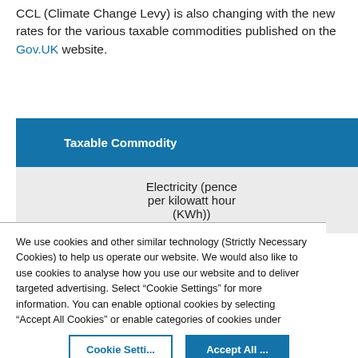CCL (Climate Change Levy) is also changing with the new rates for the various taxable commodities published on the Gov.UK website.
| Taxable Commodity | Rate from 1st Apr |
| --- | --- |
| Electricity (pence per kilowatt hour (KWh)) | 0.00811 |
We use cookies and other similar technology (Strictly Necessary Cookies) to help us operate our website. We would also like to use cookies to analyse how you use our website and to deliver targeted advertising. Select “Cookie Settings” for more information. You can enable optional cookies by selecting “Accept All Cookies” or enable categories of cookies under “Cookie Settings”. You can change your choices at any time in “Cookie Settings” Privacy Preference Centre.